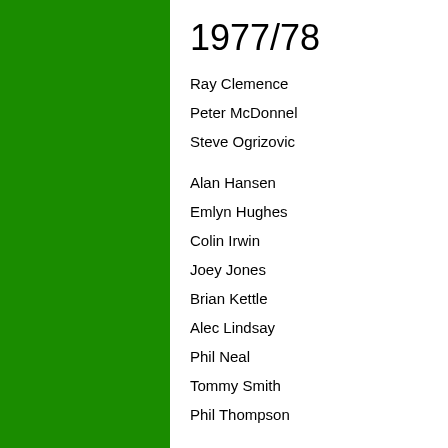1977/78
Ray Clemence
Peter McDonnel
Steve Ogrizovic
Alan Hansen
Emlyn Hughes
Colin Irwin
Joey Jones
Brian Kettle
Alec Lindsay
Phil Neal
Tommy Smith
Phil Thompson